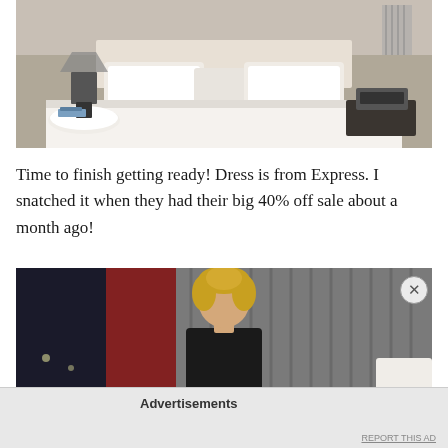[Figure (photo): Hotel room with a large bed with white bedding and pillows, a nightstand with a modern lamp on the left, and a telephone on the right. Patterned wallpaper visible in the background.]
Time to finish getting ready! Dress is from Express. I snatched it when they had their big 40% off sale about a month ago!
[Figure (photo): A blonde woman standing in a hotel room in front of curtains. Dark curtains visible in the background.]
Advertisements
REPORT THIS AD